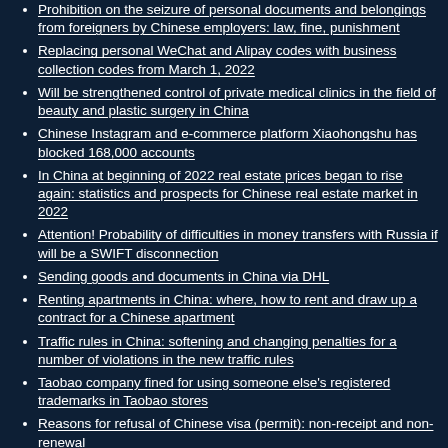Prohibition on the seizure of personal documents and belongings from foreigners by Chinese employers: law, fine, punishment
Replacing personal WeChat and Alipay codes with business collection codes from March 1, 2022
Will be strengthened control of private medical clinics in the field of beauty and plastic surgery in China
Chinese Instagram and e-commerce platform Xiaohongshu has blocked 168,000 accounts
In China at beginning of 2022 real estate prices began to rise again: statistics and prospects for Chinese real estate market in 2022
Attention! Probability of difficulties in money transfers with Russia if will be a SWIFT disconnection
Sending goods and documents in China via DHL
Renting apartments in China: where, how to rent and draw up a contract for a Chinese apartment
Traffic rules in China: softening and changing penalties for a number of violations in the new traffic rules
Taobao company fined for using someone else's registered trademarks in Taobao stores
Reasons for refusal of Chinese visa (permit): non-receipt and non-renewal
Permanent residence (Green card) in China: conditions for obtaining, requirements for foreigners
Healthcare in China...